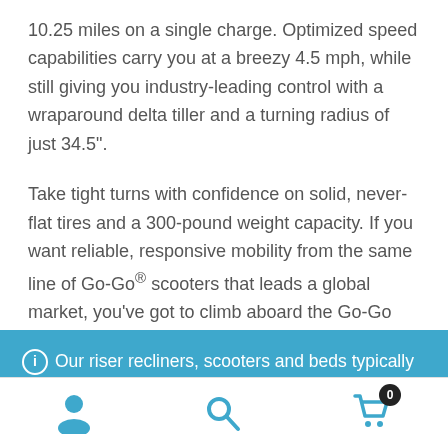10.25 miles on a single charge. Optimized speed capabilities carry you at a breezy 4.5 mph, while still giving you industry-leading control with a wraparound delta tiller and a turning radius of just 34.5".
Take tight turns with confidence on solid, never-flat tires and a 300-pound weight capacity. If you want reliable, responsive mobility from the same line of Go-Go® scooters that leads a global market, you’ve got to climb aboard the Go-Go Elite Traveller Plus 3-Wheel
ⓘ Our riser recliners, scooters and beds typically ship anywhere in the UK within 4-6 weeks. Due to COVID-19 - please allow between 6-8 weeks for some large items. Dismiss
and neatly folds down for compact portability
[Figure (other): Bottom navigation bar with person icon, search icon, and shopping cart icon with badge showing 0]